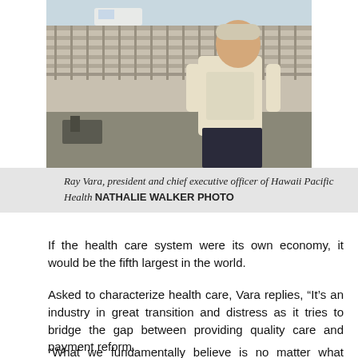[Figure (photo): Ray Vara, president and chief executive officer of Hawaii Pacific Health, standing outdoors near a railing with construction equipment visible in the background. He is wearing a light floral shirt and dark pants.]
Ray Vara, president and chief executive officer of Hawaii Pacific Health NATHALIE WALKER PHOTO
If the health care system were its own economy, it would be the fifth largest in the world.
Asked to characterize health care, Vara replies, “It’s an industry in great transition and distress as it tries to bridge the gap between providing quality care and payment reform.
“What we fundamentally believe is no matter what legislative mandates (such as the Affordable Care Act aka Obamacare) are imposed, we need to make a shift from volume-based payment to value-based care,” he